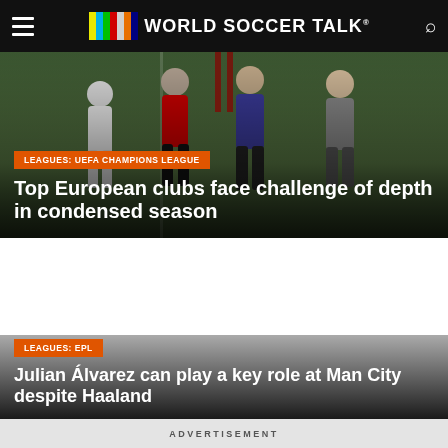WORLD SOCCER TALK
LEAGUES: UEFA CHAMPIONS LEAGUE
Top European clubs face challenge of depth in condensed season
LEAGUES: EPL
Julian Álvarez can play a key role at Man City despite Haaland
ADVERTISEMENT